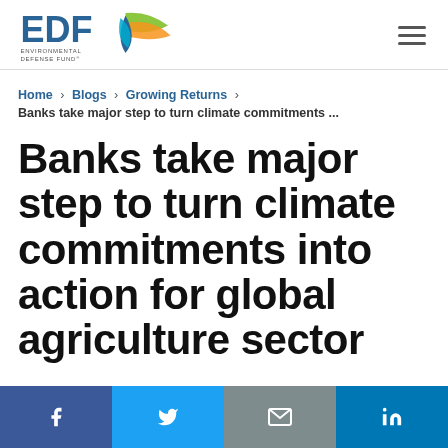EDF Environmental Defense Fund
Home › Blogs › Growing Returns › Banks take major climate commitments ...
Banks take major step to turn climate commitments into action for global agriculture sector
[Figure (infographic): Social sharing bar with Facebook, Twitter, Email, and LinkedIn buttons]